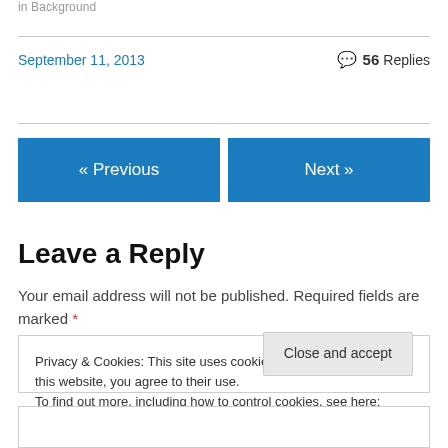in  Background
September 11, 2013
56 Replies
« Previous
Next »
Leave a Reply
Your email address will not be published. Required fields are marked *
Privacy & Cookies: This site uses cookies. By continuing to use this website, you agree to their use.
To find out more, including how to control cookies, see here: Cookie Policy
Close and accept